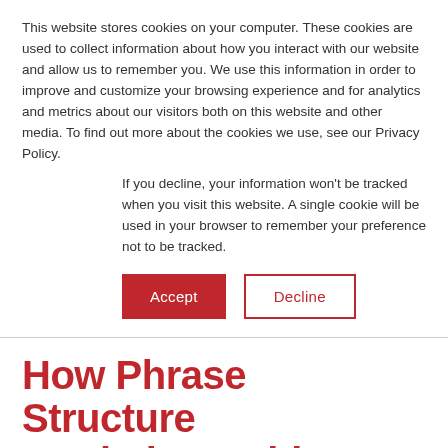This website stores cookies on your computer. These cookies are used to collect information about how you interact with our website and allow us to remember you. We use this information in order to improve and customize your browsing experience and for analytics and metrics about our visitors both on this website and other media. To find out more about the cookies we use, see our Privacy Policy.
If you decline, your information won't be tracked when you visit this website. A single cookie will be used in your browser to remember your preference not to be tracked.
Accept | Decline
How Phrase Structure can help Machine Learning for Text Analysis